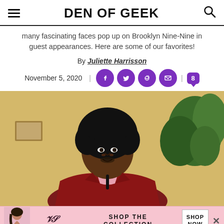DEN OF GEEK
many fascinating faces pop up on Brooklyn Nine-Nine in guest appearances. Here are some of our favorites!
By Juliette Harrisson
November 5, 2020
[Figure (photo): A man in a red velvet blazer and pink shirt smiling, with green plants in the background]
[Figure (infographic): Victoria's Secret advertisement banner: SHOP THE COLLECTION with a SHOP NOW button]